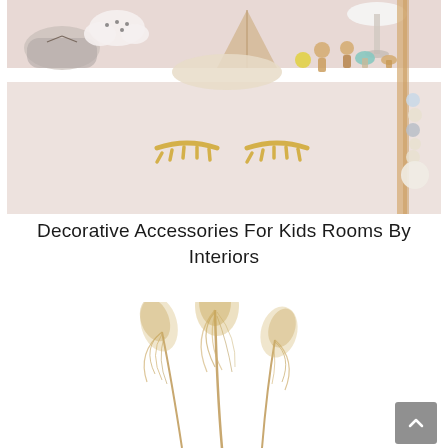[Figure (photo): A children's room shelf with decorative items including wooden toys, shoes, a cloud-shaped decoration, small figurines, beads, and golden eyelash-shaped wall decorations on a pink background]
Decorative Accessories For Kids Rooms By Interiors
[Figure (photo): Pampas grass or dried feathery plant stems in beige/cream tones against a white background, with a grey scroll-to-top button in the lower right corner]